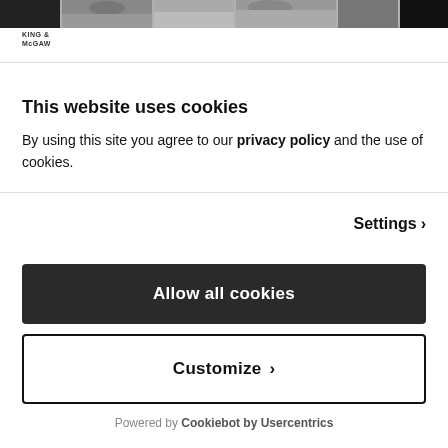[Figure (photo): Black and white photo strip at top of page showing partial figures]
KING & MCGAW
This website uses cookies
By using this site you agree to our privacy policy and the use of cookies.
Settings >
Allow all cookies
Customize >
Powered by Cookiebot by Usercentrics